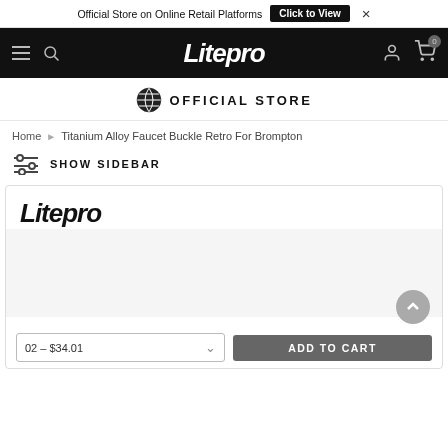Official Store on Online Retail Platforms  Click to View  ×
[Figure (logo): Litepro logo in white italic text on black navigation bar]
[Figure (logo): Globe icon with OFFICIAL STORE text]
OFFICIAL STORE
Home ▶ Titanium Alloy Faucet Buckle Retro For Brompton
SHOW SIDEBAR
[Figure (logo): Litepro logo in black italic text inside product card]
02 – $34.01
ADD TO CART